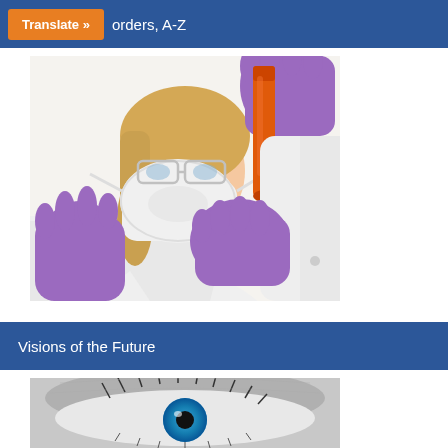Translate » orders, A-Z
[Figure (photo): A female scientist or lab technician wearing a white lab coat, protective goggles, and purple gloves, holding up an orange/red liquid-filled test tube and examining it closely. She is also wearing a white face mask.]
Visions of the Future
[Figure (photo): Close-up black and white photo of a human eye with a bright blue iris, showing detailed eyelashes and skin texture around the eye.]